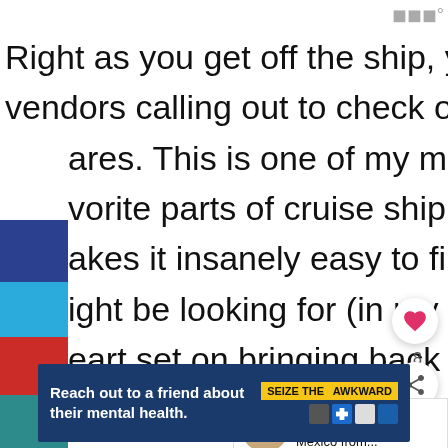Right as you get off the ship, you hear vendors calling out to check out their wares. This is one of my most and least favorite parts of cruise ship ports – it makes it insanely easy to find things you might be looking for (in my case, I had my heart set on bringing back some Talavera plates) but you need to be very careful and lucky when selecting items from such markets.
[Figure (other): Advertisement banner: 'Reach out to a friend about their mental health.' with SEIZE THE AWKWARD badge and ad council logos]